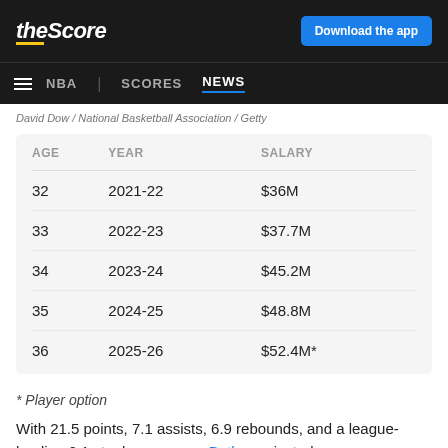theScore | Download the app | NBA | SCORES | NEWS
David Dow / National Basketball Association / Getty
| AGE | YEAR | SALARY |
| --- | --- | --- |
| 32 | 2021-22 | $36M |
| 33 | 2022-23 | $37.7M |
| 34 | 2023-24 | $45.2M |
| 35 | 2024-25 | $48.8M |
| 36 | 2025-26 | $52.4M* |
* Player option
With 21.5 points, 7.1 assists, 6.9 rebounds, and a league-leading 2.1 steals per game, Butler projected as